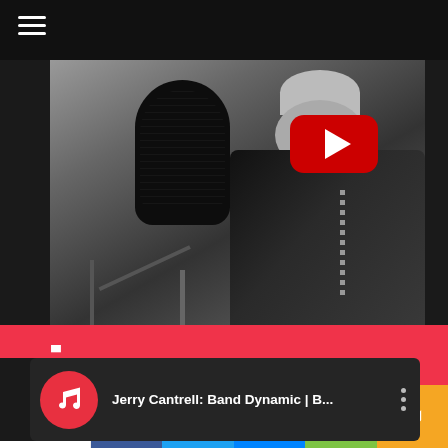[Figure (screenshot): Dark mobile app header with hamburger menu icon (three white horizontal lines) on black background bar at top]
[Figure (photo): Black and white photo of a person with a large studio microphone, wearing a dark jacket. A red YouTube play button is visible in the upper area. A necklace is visible on the person.]
sic
[Figure (screenshot): Music app listing row with red Apple Music icon circle containing a white music note, followed by text 'Jerry Cantrell: Band Dynamic | B...' and a three-dot menu icon on the right]
Jerry Cantrell: Band Dynamic | B...
[Figure (screenshot): Social sharing bar at bottom with share count '36 Shares', then Facebook (blue), Twitter (light blue), Messenger (blue), ShareThis (green), and SMS (yellow/orange) buttons]
36
Shares